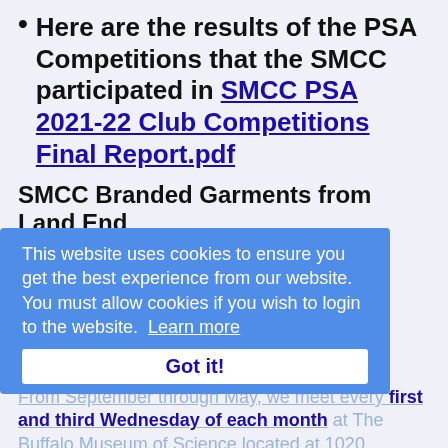Here are the results of the PSA Competitions that the SMCC participated in SMCC PSA 2021-22 Club Competitions Final Report.pdf
SMCC Branded Garments from Land End
Our club has a Lands End Storefront.  You can purchase garments with the SMCC Logo from Lands End.
This website uses cookies to ensure you get the best experience from our website. You must allow cookies if you wish to login to the website.  Learn more
Got it!
Meetings:
From September through May, we meet every first and third Wednesday of each month at The Buffalo Museum of Science located at 1020 Humboldt